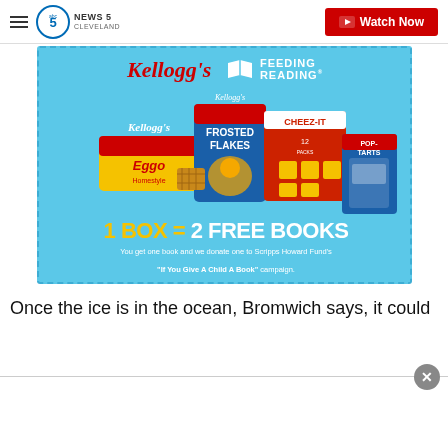NEWS 5 CLEVELAND | Watch Now
[Figure (illustration): Kellogg's Feeding Reading advertisement banner showing Frosted Flakes, Cheez-It, Eggo, and Pop-Tarts products with text '1 BOX = 2 FREE BOOKS' and 'You get one book and we donate one to Scripps Howard Fund's "If You Give A Child A Book" campaign.']
Once the ice is in the ocean, Bromwich says, it could